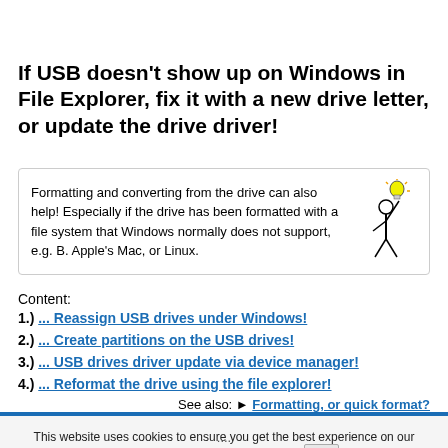If USB doesn't show up on Windows in File Explorer, fix it with a new drive letter, or update the drive driver!
Formatting and converting from the drive can also help! Especially if the drive has been formatted with a file system that Windows normally does not support, e.g. B. Apple's Mac, or Linux.
Content:
1.) ... Reassign USB drives under Windows!
2.) ... Create partitions on the USB drives!
3.) ... USB drives driver update via device manager!
4.) ... Reformat the drive using the file explorer!
See also: ► Formatting, or quick format?
This website uses cookies to ensure you get the best experience on our website more Infos & Privacy Policy OK